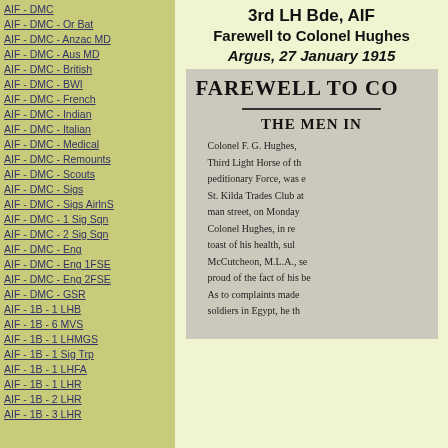AIF - DMC
AIF - DMC - Or Bat
AIF - DMC - Anzac MD
AIF - DMC - Aus MD
AIF - DMC - British
AIF - DMC - BWI
AIF - DMC - French
AIF - DMC - Indian
AIF - DMC - Italian
AIF - DMC - Medical
AIF - DMC - Remounts
AIF - DMC - Scouts
AIF - DMC - Sigs
AIF - DMC - Sigs AirlnS
AIF - DMC - 1 Sig Sqn
AIF - DMC - 2 Sig Sqn
AIF - DMC - Eng
AIF - DMC - Eng 1FSE
AIF - DMC - Eng 2FSE
AIF - DMC - GSR
AIF - 1B - 1 LHB
AIF - 1B - 6 MVS
AIF - 1B - 1 LHMGS
AIF - 1B - 1 Sig Trp
AIF - 1B - 1 LHFA
AIF - 1B - 1 LHR
AIF - 1B - 2 LHR
AIF - 1B - 3 LHR
3rd LH Bde, AIF
Farewell to Colonel Hughes
Argus, 27 January 1915
[Figure (photo): Scanned newspaper clipping with headline 'FAREWELL TO CO[LONEL HUGHES]', subheading 'THE MEN IN', followed by partial article text about Colonel F. G. Hughes of the Third Light Horse of the [Ex]peditionary Force, farewell at St. Kilda Trades Club, Monday, with mentions of Colonel Hughes responding to toast of his health, referencing McCutcheon, M.L.A., and complaints about soldiers in Egypt.]